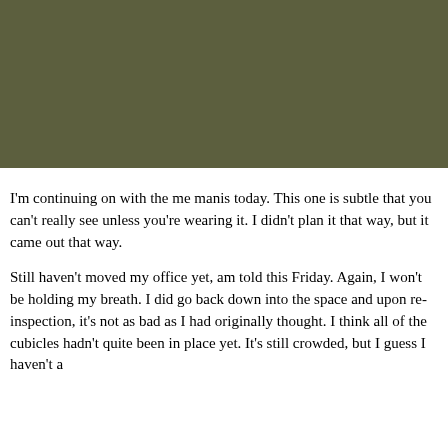[Figure (photo): A large olive/khaki green rectangular image block at the top of the page.]
I'm continuing on with the me manis today.  This one is subtle that you can't really see unless you're wearing it.  I didn't plan it that way, but it came out that way.
Still haven't moved my office yet, am told this Friday.  Again, I won't be holding my breath.  I did go back down into the space and upon re-inspection, it's not as bad as I had originally thought.  I think all of the cubicles hadn't quite been in place yet.  It's still crowded, but I guess I haven't a